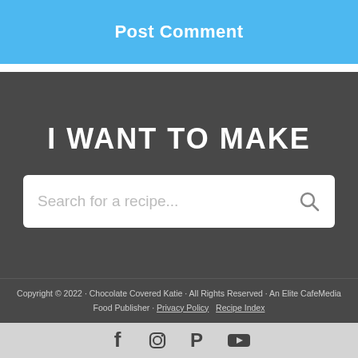Post Comment
I WANT TO MAKE
Search for a recipe...
Copyright © 2022 · Chocolate Covered Katie · All Rights Reserved · An Elite CafeMedia Food Publisher · Privacy Policy   Recipe Index
[Figure (other): Social media icons: Facebook, Instagram, Pinterest, YouTube]